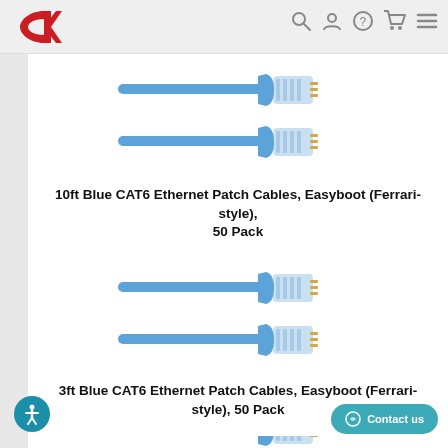[Figure (logo): CK logo in red with stylized C and K letters]
[Figure (illustration): Navigation icons: search, account, help, cart, menu]
[Figure (photo): Two blue CAT6 Ethernet patch cables with Easyboot connectors, stacked]
10ft Blue CAT6 Ethernet Patch Cables, Easyboot (Ferrari-style), 50 Pack
[Figure (photo): Two blue CAT6 Ethernet patch cables with Easyboot connectors, stacked]
3ft Blue CAT6 Ethernet Patch Cables, Easyboot (Ferrari-style), 50 Pack
[Figure (photo): Two blue CAT6 Ethernet patch cables with Easyboot connectors, partially visible]